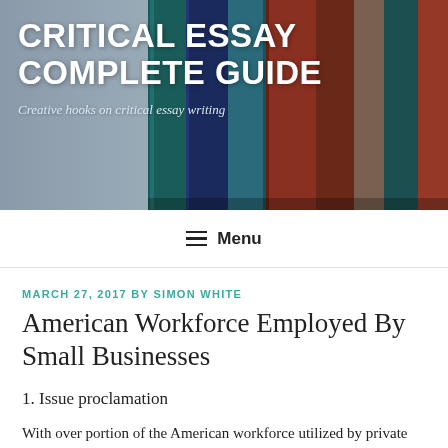[Figure (photo): Header banner showing a row of colorful books on a shelf, with a teal/grey gradient on the left side. Overlaid with white text reading 'CRITICAL ESSAY COMPLETE GUIDE' and subtitle 'Creative hooks on critical essay writing'.]
≡ Menu
MARCH 27, 2017 BY SIMON WHITE
American Workforce Employed By Small Businesses
1. Issue proclamation
With over portion of the American workforce utilized by private companies, these associations are the foundation of the American economy. Independent companies are